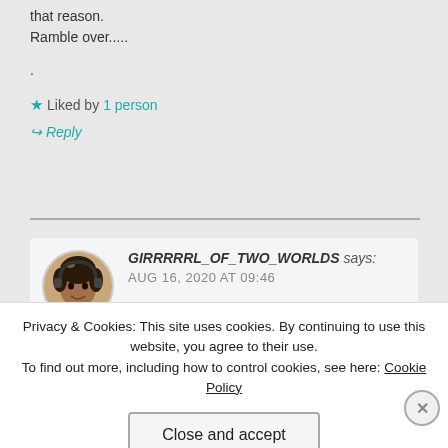that reason.
Ramble over.....
.
★ Liked by 1 person
↪ Reply
GIRRRRRL_OF_TWO_WORLDS says:
AUG 16, 2020 AT 09:46
Privacy & Cookies: This site uses cookies. By continuing to use this website, you agree to their use.
To find out more, including how to control cookies, see here: Cookie Policy
Close and accept